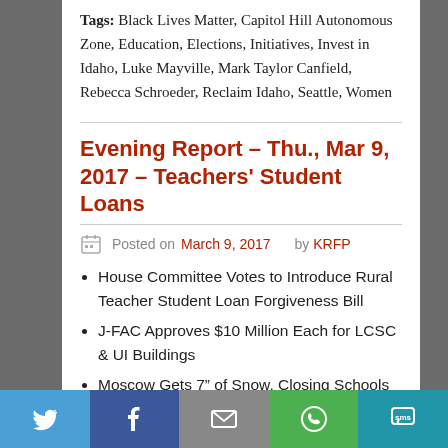Tags: Black Lives Matter, Capitol Hill Autonomous Zone, Education, Elections, Initiatives, Invest in Idaho, Luke Mayville, Mark Taylor Canfield, Rebecca Schroeder, Reclaim Idaho, Seattle, Women
Evening Report – Thu., Mar 9, 2017 – Teachers' Student Loans
Posted on March 9, 2017 by KRFP
House Committee Votes to Introduce Rural Teacher Student Loan Forgiveness Bill
J-FAC Approves $10 Million Each for LCSC & UI Buildings
Moscow Gets 7" of Snow, Closing Schools
Flood Watch in Effect for Paradise Creek until 7 pm Friday
Despite 60 Inches of Snow this Winter, Moscow